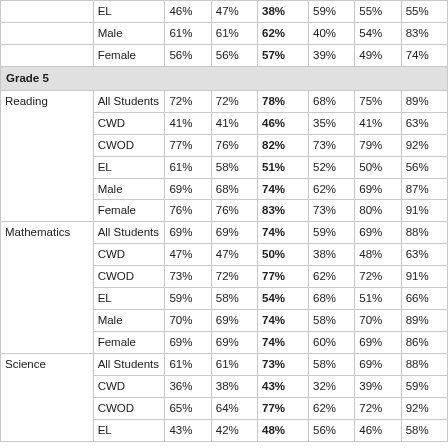|  |  |  |  |  |  |  |  |
| --- | --- | --- | --- | --- | --- | --- | --- |
|  | EL | 46% | 47% | 38% | 59% | 53% | 55% |
|  | Male | 61% | 61% | 62% | 40% | 54% | 83% |
|  | Female | 56% | 56% | 57% | 39% | 49% | 74% |
| Grade 5 |  |  |  |  |  |  |  |
| Reading | All Students | 72% | 72% | 78% | 68% | 75% | 89% |
|  | CWD | 41% | 41% | 46% | 35% | 41% | 63% |
|  | CWOD | 77% | 76% | 82% | 73% | 79% | 92% |
|  | EL | 61% | 58% | 51% | 52% | 50% | 56% |
|  | Male | 69% | 68% | 74% | 62% | 69% | 87% |
|  | Female | 76% | 76% | 83% | 73% | 80% | 91% |
| Mathematics | All Students | 69% | 69% | 74% | 59% | 69% | 88% |
|  | CWD | 47% | 47% | 50% | 38% | 48% | 63% |
|  | CWOD | 73% | 72% | 77% | 62% | 72% | 91% |
|  | EL | 59% | 58% | 54% | 68% | 51% | 66% |
|  | Male | 70% | 69% | 74% | 58% | 70% | 89% |
|  | Female | 69% | 69% | 74% | 60% | 69% | 86% |
| Science | All Students | 61% | 61% | 73% | 58% | 69% | 88% |
|  | CWD | 36% | 38% | 43% | 32% | 39% | 59% |
|  | CWOD | 65% | 64% | 77% | 62% | 72% | 92% |
|  | EL | 43% | 42% | 48% | 56% | 46% | 58% |